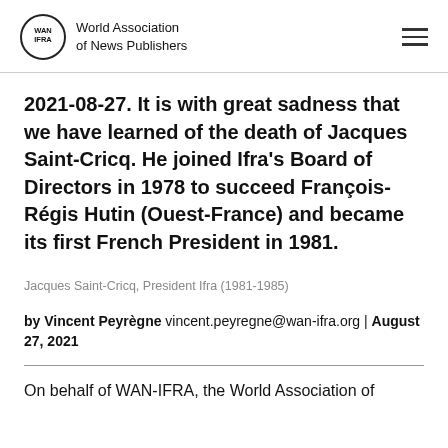World Association of News Publishers
2021-08-27. It is with great sadness that we have learned of the death of Jacques Saint-Cricq. He joined Ifra’s Board of Directors in 1978 to succeed François-Régis Hutin (Ouest-France) and became its first French President in 1981.
Jacques Saint-Cricq, President Ifra (1981-1985)
by Vincent Peyrègne vincent.peyregne@wan-ifra.org | August 27, 2021
On behalf of WAN-IFRA, the World Association of